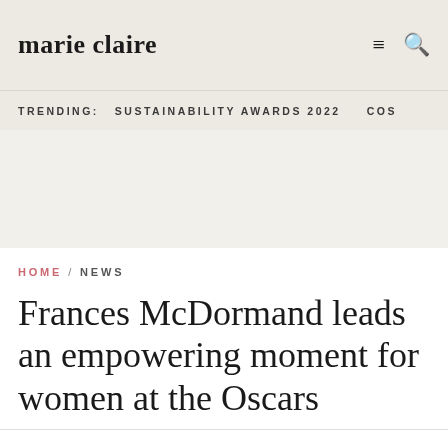marie claire
TRENDING:  SUSTAINABILITY AWARDS 2022  COS
Frances McDormand leads an empowering moment for women at the Oscars
HOME / NEWS